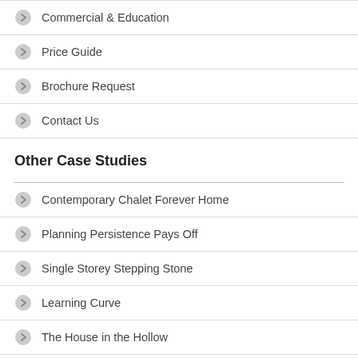Commercial & Education
Price Guide
Brochure Request
Contact Us
Other Case Studies
Contemporary Chalet Forever Home
Planning Persistence Pays Off
Single Storey Stepping Stone
Learning Curve
The House in the Hollow
Contemporary Living in Cheshire
Stunning Scandia on a Sloping Site